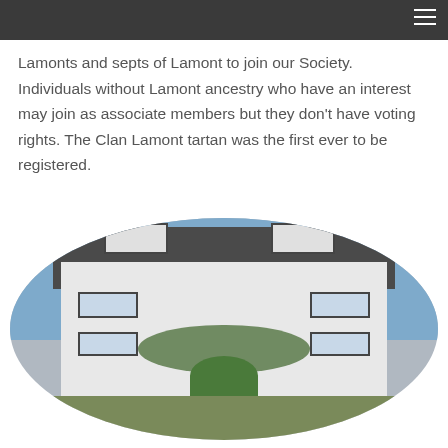Lamonts and septs of Lamont to join our Society. Individuals without Lamont ancestry who have an interest may join as associate members but they don't have voting rights. The Clan Lamont tartan was the first ever to be registered.
[Figure (photo): An oval-framed photograph of a white Scottish building with dark roof, dormer windows, ivy-covered entrance porch, and garden in front, under a blue sky.]